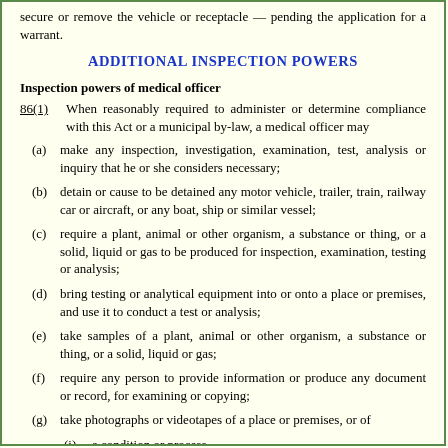secure or remove the vehicle or receptacle — pending the application for a warrant.
ADDITIONAL INSPECTION POWERS
Inspection powers of medical officer
86(1)    When reasonably required to administer or determine compliance with this Act or a municipal by-law, a medical officer may
(a) make any inspection, investigation, examination, test, analysis or inquiry that he or she considers necessary;
(b) detain or cause to be detained any motor vehicle, trailer, train, railway car or aircraft, or any boat, ship or similar vessel;
(c) require a plant, animal or other organism, a substance or thing, or a solid, liquid or gas to be produced for inspection, examination, testing or analysis;
(d) bring testing or analytical equipment into or onto a place or premises, and use it to conduct a test or analysis;
(e) take samples of a plant, animal or other organism, a substance or thing, or a solid, liquid or gas;
(f) require any person to provide information or produce any document or record, for examining or copying;
(g) take photographs or videotapes of a place or premises, or of
(i) a condition or process,
(ii) a plant, animal or other organism,